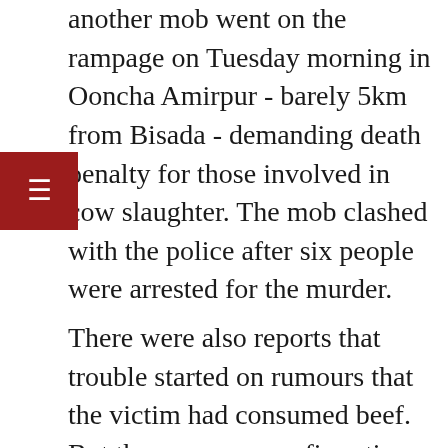another mob went on the rampage on Tuesday morning in Ooncha Amirpur - barely 5km from Bisada - demanding death penalty for those involved in cow slaughter. The mob clashed with the police after six people were arrested for the murder.
There were also reports that trouble started on rumours that the victim had consumed beef. But there was no confirmation.
Kiran S, SSP, Gautam Budh Nagar, earlier, said, "Around 800 armed forces, including a battalion of Provincial Armed Constabulary and police from Ghaziabad, Bulandshahr and Hapur, have been deployed in the village and the areas around it."
Family members of Iqlakh, the murdered Bisada...